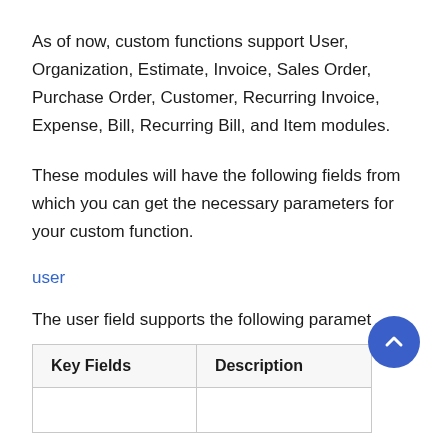As of now, custom functions support User, Organization, Estimate, Invoice, Sales Order, Purchase Order, Customer, Recurring Invoice, Expense, Bill, Recurring Bill, and Item modules.
These modules will have the following fields from which you can get the necessary parameters for your custom function.
user
The user field supports the following paramet
| Key Fields | Description |
| --- | --- |
|  |  |